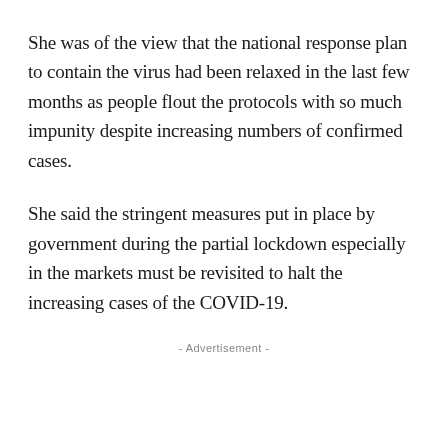She was of the view that the national response plan to contain the virus had been relaxed in the last few months as people flout the protocols with so much impunity despite increasing numbers of confirmed cases.
She said the stringent measures put in place by government during the partial lockdown especially in the markets must be revisited to halt the increasing cases of the COVID-19.
- Advertisement -